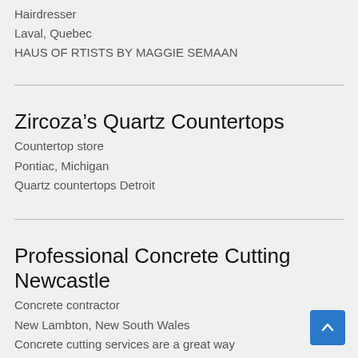Hairdresser
Laval, Quebec
HAUS OF RTISTS BY MAGGIE SEMAAN
Zircoza’s Quartz Countertops
Countertop store
Pontiac, Michigan
Quartz countertops Detroit
Professional Concrete Cutting Newcastle
Concrete contractor
New Lambton, New South Wales
Concrete cutting services are a great way